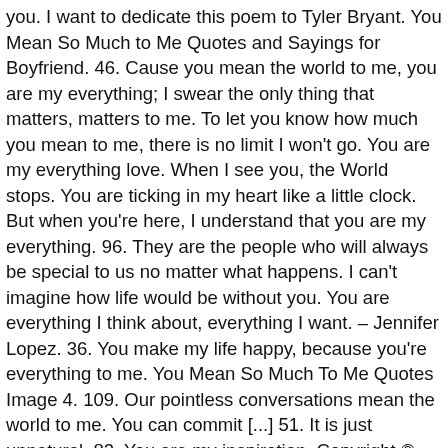you. I want to dedicate this poem to Tyler Bryant. You Mean So Much to Me Quotes and Sayings for Boyfriend. 46. Cause you mean the world to me, you are my everything; I swear the only thing that matters, matters to me. To let you know how much you mean to me, there is no limit I won't go. You are my everything love. When I see you, the World stops. You are ticking in my heart like a little clock. But when you're here, I understand that you are my everything. 96. They are the people who will always be special to us no matter what happens. I can't imagine how life would be without you. You are everything I think about, everything I want. – Jennifer Lopez. 36. You make my life happy, because you're everything to me. You Mean So Much To Me Quotes Image 4. 109. Our pointless conversations mean the world to me. You can commit [...] 51. It is just unnatural. 82. You are my inspiration. Copyright © Quotabulary & Buzzle.com, Inc. 79. I've always traveled with a picture of my daughter from 1989, her kindergarten school picture, that has 'I love you, Daddy' written on it. Whenever you feel like you are worthless,